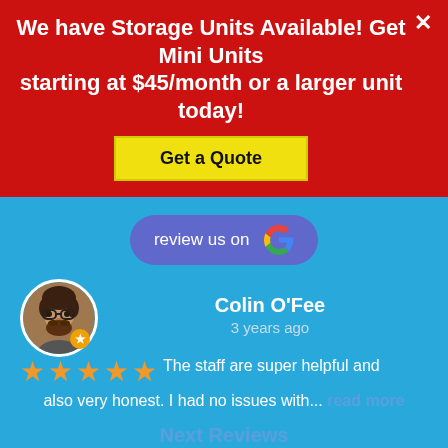We have Storage Units Available! Get Mini Units starting at $45/month or a larger unit today!
Get a Quote
[Figure (infographic): Review us on Google button with Google G logo]
Colin O'Fee
3 years ago
The staff are super helpful and also very honest. I had no issues with... read more
Next Reviews
ACCESS HOURS
| Day | From | To |
| --- | --- | --- |
| Monday | 06:00 AM | 08:00 PM |